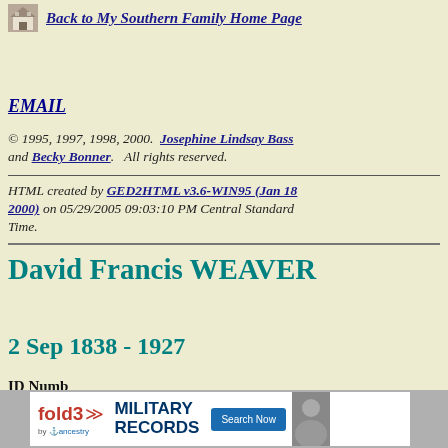Back to My Southern Family Home Page
EMAIL
© 1995, 1997, 1998, 2000. Josephine Lindsay Bass and Becky Bonner. All rights reserved.
HTML created by GED2HTML v3.6-WIN95 (Jan 18 2000) on 05/29/2005 09:03:10 PM Central Standard Time.
David Francis WEAVER
2 Sep 1838 - 1927
ID Numb